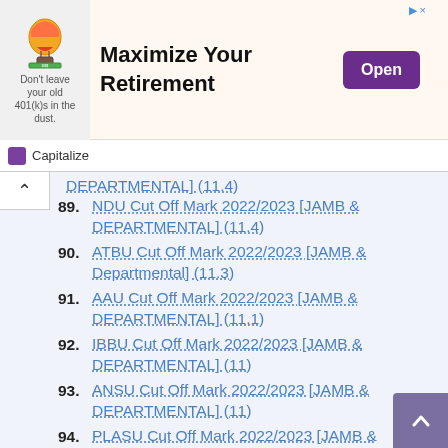[Figure (infographic): Advertisement banner: hot air balloon icon with text 'Don't leave your old 401(k)s in the dust.' and heading 'Maximize Your Retirement' with an 'Open' button]
Capitalize
DEPARTMENTAL] (11.4)
89. NDU Cut Off Mark 2022/2023 [JAMB & DEPARTMENTAL] (11.4)
90. ATBU Cut Off Mark 2022/2023 [JAMB & Departmental] (11.3)
91. AAU Cut Off Mark 2022/2023 [JAMB & DEPARTMENTAL] (11.1)
92. IBBU Cut Off Mark 2022/2023 [JAMB & DEPARTMENTAL] (11)
93. ANSU Cut Off Mark 2022/2023 [JAMB & DEPARTMENTAL] (11)
94. PLASU Cut Off Mark 2022/2023 [JAMB & DEPARTMENTAL] (10.9)
95. BSUM Cut Off Mark 2022/2023 [JAMB &